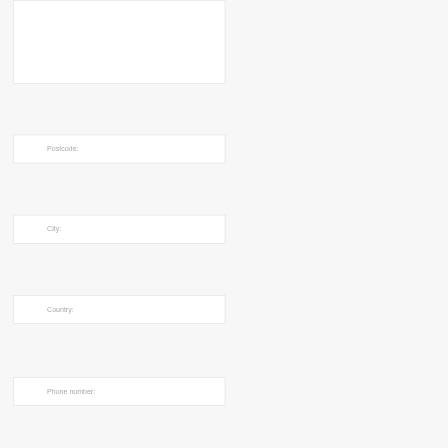[Figure (other): Top text input box, partially visible at top of page]
Postcode:
City:
Country:
Phone number: